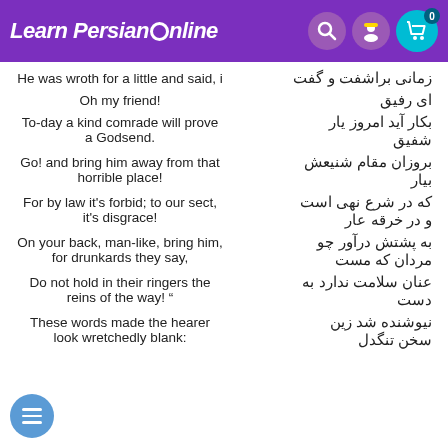Learn Persian Online
He was wroth for a little and said, i | زمانی براشفت و گفت
Oh my friend! | ای رفیق
To-day a kind comrade will prove a Godsend. | بکار آید امروز یار شفیق
Go! and bring him away from that horrible place! | بروزان مقام شنیعش بیار
For by law it's forbid; to our sect, it's disgrace! | که در شرع نهی است و در خرقه عار
On your back, man-like, bring him, for drunkards they say, | به پشتش درآور چو مردان که مست
Do not hold in their ringers the reins of the way! " | عنان سلامت ندارد به دست
These words made the hearer look wretchedly blank: | نیوشنده شد زین سخن تنگدل